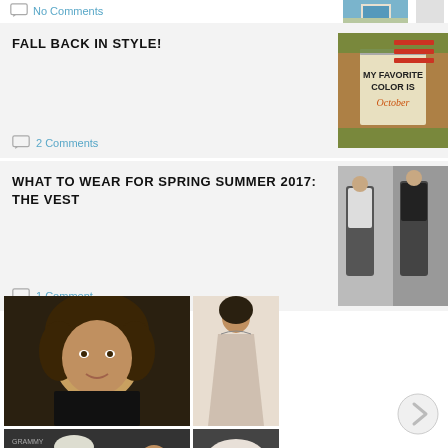No Comments
[Figure (photo): Thumbnail image of a scenic location with water and sky]
FALL BACK IN STYLE!
[Figure (photo): Sign reading 'MY FAVORITE COLOR IS October']
2 Comments
WHAT TO WEAR FOR SPRING SUMMER 2017: THE VEST
[Figure (photo): Fashion runway photo showing models wearing vests]
1 Comment
[Figure (photo): Hamburger menu icon with three red horizontal lines]
[Figure (photo): Gallery of celebrity photos including Halle Berry with curly hair and women in evening gowns]
[Figure (photo): Next arrow navigation button]